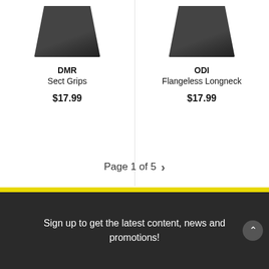[Figure (photo): Product photo of DMR Sect Grips (partially cropped at top), dark cylindrical grip]
DMR
Sect Grips
$17.99
[Figure (photo): Product photo of ODI Flangeless Longneck grips (partially cropped at top)]
ODI
Flangeless Longneck
$17.99
Page 1 of 5
Sign up to get the latest content, news and promotions!